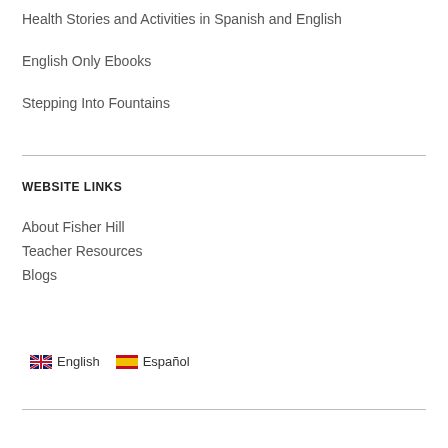Health Stories and Activities in Spanish and English
English Only Ebooks
Stepping Into Fountains
WEBSITE LINKS
About Fisher Hill
Teacher Resources
Blogs
English  Español